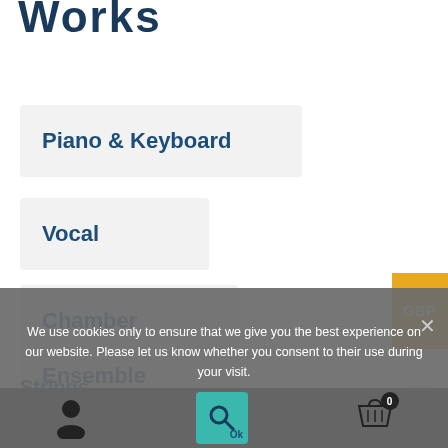Works
Piano & Keyboard
Vocal
Chamber
Ensemble
Orchestra
Strings
We use cookies only to ensure that we give you the best experience on our website. Please let us know whether you consent to their use during your visit.